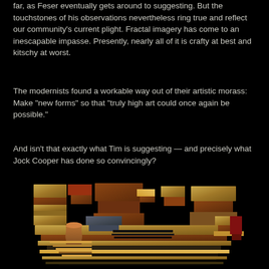far, as Feser eventually gets around to suggesting. But the touchstones of his observations nevertheless ring true and reflect our community's current plight. Fractal imagery has come to an inescapable impasse. Presently, nearly all of it is crafty at best and kitschy at worst.
The modernists found a workable way out of their artistic morass: Make "new forms" so that "truly high art could once again be possible."
And isn't that exactly what Tim is suggesting — and precisely what Jock Cooper has done so convincingly?
[Figure (illustration): A fractal digital artwork showing a complex architectural-looking structure composed of stacked geometric forms, boxes, and layered horizontal elements in gold, brown, copper, and dark tones against a black background. The image resembles a densely packed mechanical or urban landscape rendered in 3D.]